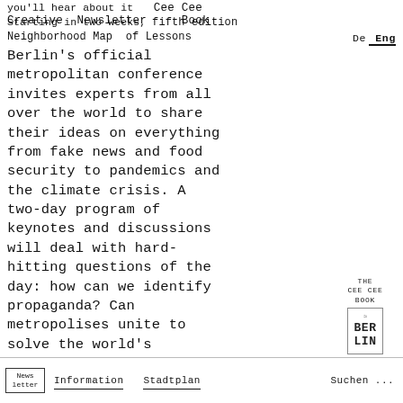you'll hear about it  Cee Cee Creative Newsletter  Book
Starting in two weeks,  Neighborhood Map  fifth edition  of Lessons  De  Eng
Berlin's official metropolitan conference invites experts from all over the world to share their ideas on everything from fake news and food security to pandemics and the climate crisis. A two-day program of keynotes and discussions will deal with hard-hitting questions of the day: how can we identify propaganda? Can metropolises unite to solve the world's
[Figure (illustration): THE CEE CEE BOOK box with BER LIN text and decorative emblem, OUT NOW label below]
Newsletter  Information  Stadtplan  Suchen ...